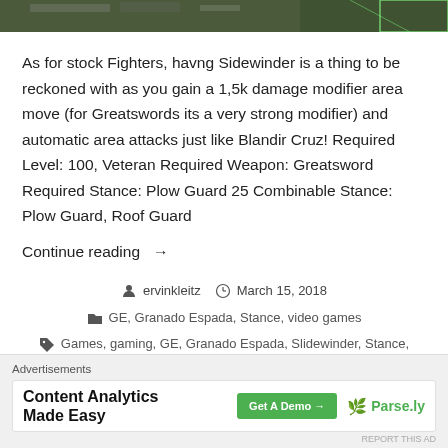[Figure (screenshot): Top portion of a game screenshot showing dark/green scene from Granado Espada]
As for stock Fighters, havng Sidewinder is a thing to be reckoned with as you gain a 1,5k damage modifier area move (for Greatswords its a very strong modifier) and automatic area attacks just like Blandir Cruz! Required Level: 100, Veteran Required Weapon: Greatsword Required Stance: Plow Guard 25 Combinable Stance: Plow Guard, Roof Guard
Continue reading →
ervinkleitz   March 15, 2018
GE, Granado Espada, Stance, video games
Games, gaming, GE, Granado Espada, Slidewinder, Stance,
[Figure (infographic): Advertisement banner: Content Analytics Made Easy - Get A Demo → Parse.ly]